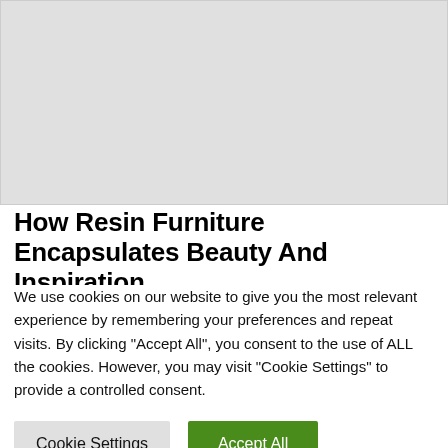[Figure (photo): Large light gray image placeholder area at top of page]
How Resin Furniture Encapsulates Beauty And Inspiration
We use cookies on our website to give you the most relevant experience by remembering your preferences and repeat visits. By clicking "Accept All", you consent to the use of ALL the cookies. However, you may visit "Cookie Settings" to provide a controlled consent.